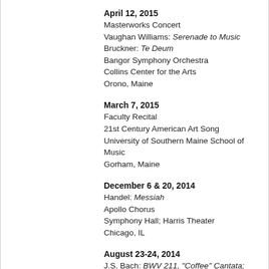April 12, 2015
Masterworks Concert
Vaughan Williams: Serenade to Music
Bruckner: Te Deum
Bangor Symphony Orchestra
Collins Center for the Arts
Orono, Maine
March 7, 2015
Faculty Recital
21st Century American Art Song
University of Southern Maine School of Music
Gorham, Maine
December 6 & 20, 2014
Handel: Messiah
Apollo Chorus
Symphony Hall; Harris Theater
Chicago, IL
August 23-24, 2014
J.S. Bach: BWV 211, "Coffee" Cantata; BWV 157; BWV 29
White Mountain Bach Festival
North Conway, New Hampshire